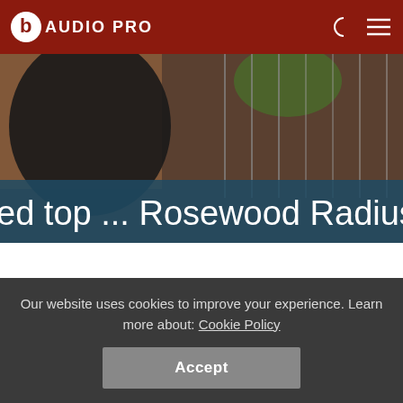AUDIO PRO
[Figure (photo): Close-up photo of a guitar or stringed instrument with a scrolling banner text overlay reading 'ed top ... Rosewood Radiuse']
Specs:
Our website uses cookies to improve your experience. Learn more about: Cookie Policy
Accept